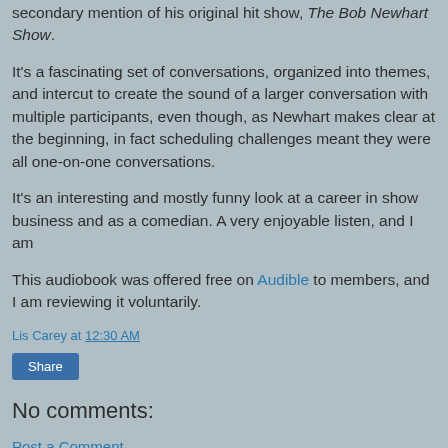secondary mention of his original hit show, The Bob Newhart Show.
It's a fascinating set of conversations, organized into themes, and intercut to create the sound of a larger conversation with multiple participants, even though, as Newhart makes clear at the beginning, in fact scheduling challenges meant they were all one-on-one conversations.
It's an interesting and mostly funny look at a career in show business and as a comedian. A very enjoyable listen, and I am
This audiobook was offered free on Audible to members, and I am reviewing it voluntarily.
Lis Carey at 12:30 AM
Share
No comments:
Post a Comment